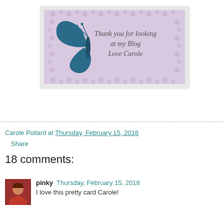[Figure (illustration): A greeting card image with a lavender/purple background, decorative lace border, a teal/dark blue butterfly on the left, and handwritten-style script text reading 'Thank you for looking at my Blog Love Carole']
Carole Pollard at Thursday, February 15, 2018
Share
18 comments:
pinky  Thursday, February 15, 2018
I love this pretty card Carole!